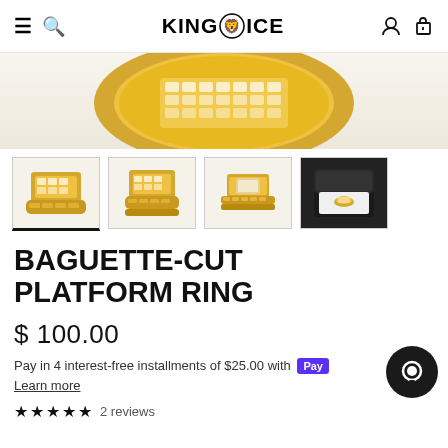KING ICE — navigation header with hamburger, search, logo, account, and cart icons
[Figure (photo): Hero product image showing gold baguette-cut platform ring closeup from above, on white/cream background]
[Figure (photo): Thumbnail 1 (active/selected): Front view of gold baguette-cut platform ring]
[Figure (photo): Thumbnail 2: Angled front view of gold baguette-cut platform ring]
[Figure (photo): Thumbnail 3: Side/band view of gold baguette-cut platform ring]
[Figure (photo): Thumbnail 4: Ring in black jewelry box]
BAGUETTE-CUT PLATFORM RING
$ 100.00
Pay in 4 interest-free installments of $25.00 with Shop Pay
Learn more
★★★★★ 2 reviews